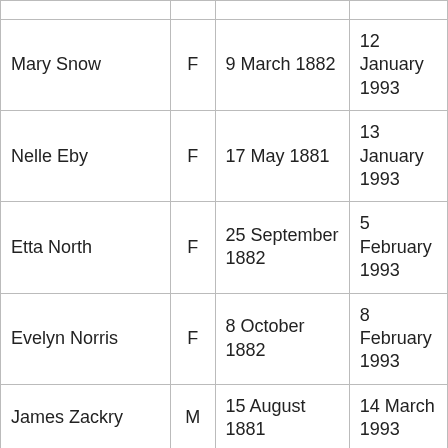| Name | Sex | Birth | Death |
| --- | --- | --- | --- |
| Mary Snow | F | 9 March 1882 | 12 January 1993 |
| Nelle Eby | F | 17 May 1881 | 13 January 1993 |
| Etta North | F | 25 September 1882 | 5 February 1993 |
| Evelyn Norris | F | 8 October 1882 | 8 February 1993 |
| James Zackry | M | 15 August 1881 | 14 March 1993 |
| Charlotte Hughes | F | 1 August 1877 | 17 March 1993 |
| Marcella Osgood | F | 18 December 1882 | 18 March 1993 |